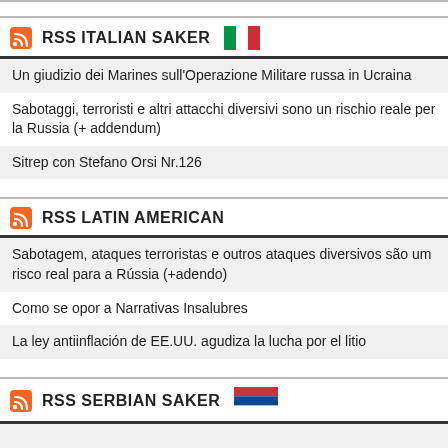RSS ITALIAN SAKER
Un giudizio dei Marines sull'Operazione Militare russa in Ucraina
Sabotaggi, terroristi e altri attacchi diversivi sono un rischio reale per la Russia (+ addendum)
Sitrep con Stefano Orsi Nr.126
RSS LATIN AMERICAN
Sabotagem, ataques terroristas e outros ataques diversivos são um risco real para a Rússia (+adendo)
Como se opor a Narrativas Insalubres
La ley antiinflación de EE.UU. agudiza la lucha por el litio
RSS SERBIAN SAKER
(partial article text cut off)